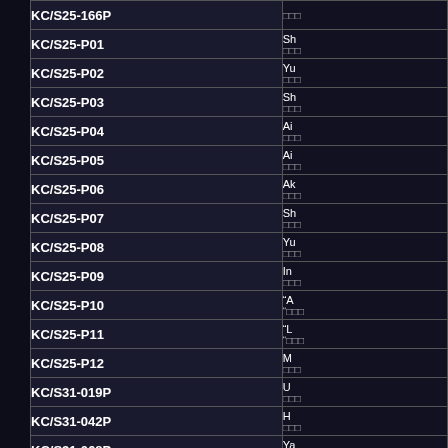| Code | Name/Info |
| --- | --- |
| KC/S25-166P |  |
| KC/S25-P01 | Sh... |
| KC/S25-P02 | Yu... |
| KC/S25-P03 | Sh... |
| KC/S25-P04 | Ai... |
| KC/S25-P05 | Ai... |
| KC/S25-P06 | Ak... |
| KC/S25-P07 | Sh... |
| KC/S25-P08 | Yu... |
| KC/S25-P09 | In... |
| KC/S25-P10 | "A... |
| KC/S25-P11 | "L... |
| KC/S25-P12 | M... |
| KC/S31-019P | U... |
| KC/S31-042P | H... |
| KC/S31-068P | Ya... |